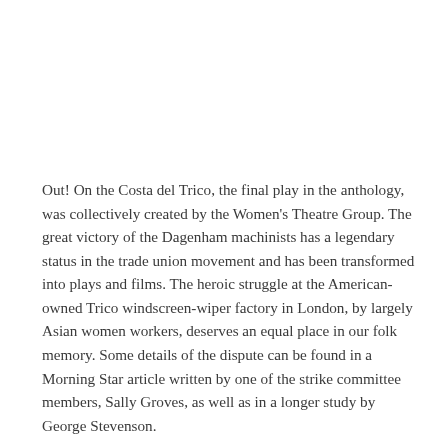Out! On the Costa del Trico, the final play in the anthology, was collectively created by the Women's Theatre Group. The great victory of the Dagenham machinists has a legendary status in the trade union movement and has been transformed into plays and films. The heroic struggle at the American-owned Trico windscreen-wiper factory in London, by largely Asian women workers, deserves an equal place in our folk memory. Some details of the dispute can be found in a Morning Star article written by one of the strike committee members, Sally Groves, as well as in a longer study by George Stevenson.